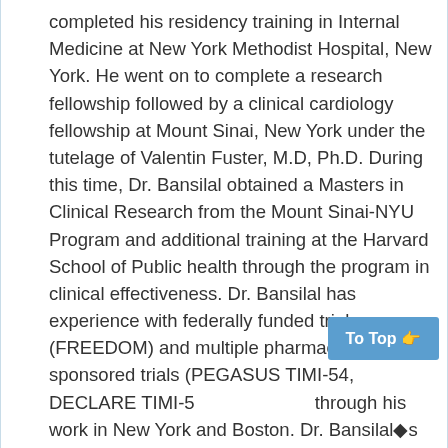completed his residency training in Internal Medicine at New York Methodist Hospital, New York. He went on to complete a research fellowship followed by a clinical cardiology fellowship at Mount Sinai, New York under the tutelage of Valentin Fuster, M.D, Ph.D. During this time, Dr. Bansilal obtained a Masters in Clinical Research from the Mount Sinai-NYU Program and additional training at the Harvard School of Public health through the program in clinical effectiveness. Dr. Bansilal has experience with federally funded trials (FREEDOM) and multiple pharmaceutical sponsored trials (PEGASUS TIMI-54, DECLARE TIMI-58) through his work in New York and Boston. Dr. Bansilal's research interests include evaluation of therapies for coronary disease, diabetes, atrial fibrillation and valvular heart disease in global populations. His main interests...